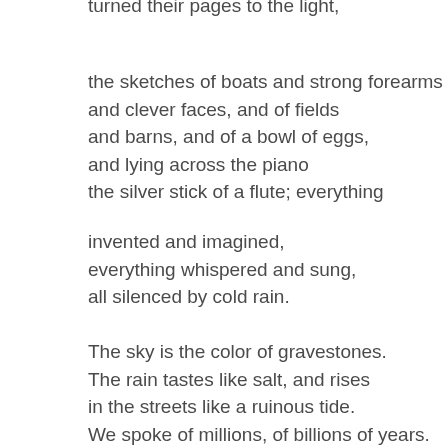turned their pages to the light,
the sketches of boats and strong forearms
and clever faces, and of fields
and barns, and of a bowl of eggs,
and lying across the piano
the silver stick of a flute; everything
invented and imagined,
everything whispered and sung,
all silenced by cold rain.
The sky is the color of gravestones.
The rain tastes like salt, and rises
in the streets like a ruinous tide.
We spoke of millions, of billions of years.
We talked and talked.